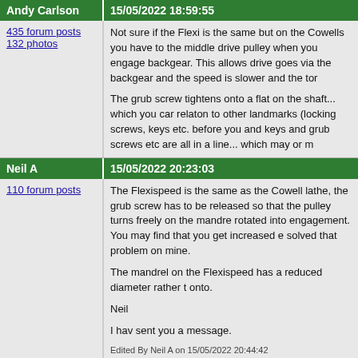Andy Carlson | 15/05/2022 18:59:55
435 forum posts
132 photos
Not sure if the Flexi is the same but on the Cowells you have to the middle drive pulley when you engage backgear. This allows drive goes via the backgear and the speed is slower and the tor

The grub screw tightens onto a flat on the shaft... which you can relaton to other landmarks (locking screws, keys etc. before you and keys and grub screws etc are all in a line... which may or m
Neil A | 15/05/2022 20:23:03
110 forum posts
The Flexispeed is the same as the Cowell lathe, the grub screw has to be released so that the pulley turns freely on the mandre rotated into engagement. You may find that you get increased e solved that problem on mine.

The mandrel on the Flexispeed has a reduced diameter rather t onto.

Neil

I hav sent you a message.

Edited By Neil A on 15/05/2022 20:44:42
Nigel Graham 2 | 15/05/2022 22:41:43
2325 forum posts
33 photos
The vital general point is that on any lathe the primary spindle-d disengaged when you engage the back-gear. Otherwise it does